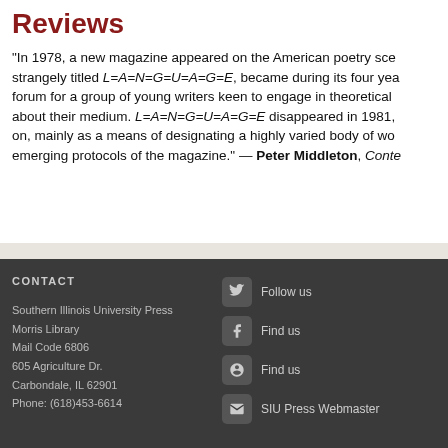Reviews
“In 1978, a new magazine appeared on the American poetry sce… strangely titled L=A=N=G=U=A=G=E, became during its four yea… forum for a group of young writers keen to engage in theoretical… about their medium. L=A=N=G=U=A=G=E disappeared in 1981,… on, mainly as a means of designating a highly varied body of wo… emerging protocols of the magazine.” — Peter Middleton, Conte…
CONTACT
Southern Illinois University Press
Morris Library
Mail Code 6806
605 Agriculture Dr.
Carbondale, IL 62901
Phone: (618)453-6614
Follow us | Find us | Find us | SIU Press Webmaster